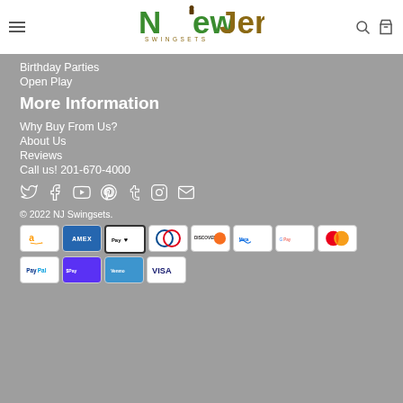[Figure (logo): New Jersey Swingsets logo with green and brown text]
Birthday Parties
Open Play
More Information
Why Buy From Us?
About Us
Reviews
Call us! 201-670-4000
[Figure (infographic): Social media icons: Twitter, Facebook, YouTube, Pinterest, Tumblr, Instagram, Email]
© 2022 NJ Swingsets.
[Figure (infographic): Payment method icons: Amazon, Amex, Apple Pay, Diners Club, Discover, Meta Pay, Google Pay, Mastercard, PayPal, Shop Pay, Venmo, Visa]